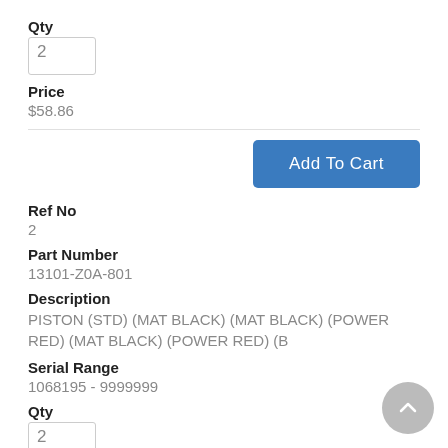Qty
2
Price
$58.86
Add To Cart
Ref No
2
Part Number
13101-Z0A-801
Description
PISTON (STD) (MAT BLACK) (MAT BLACK) (POWER RED) (MAT BLACK) (POWER RED) (B
Serial Range
1068195 - 9999999
Qty
2
Price
$54.72